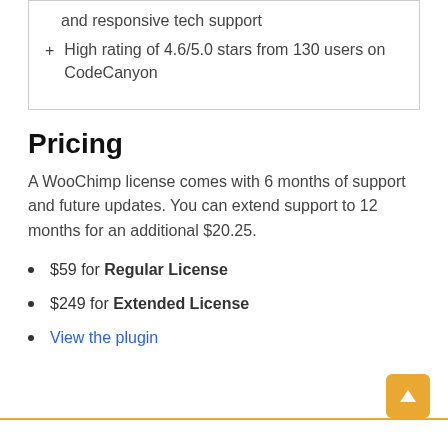and responsive tech support
+ High rating of 4.6/5.0 stars from 130 users on CodeCanyon
Pricing
A WooChimp license comes with 6 months of support and future updates. You can extend support to 12 months for an additional $20.25.
$59 for Regular License
$249 for Extended License
View the plugin